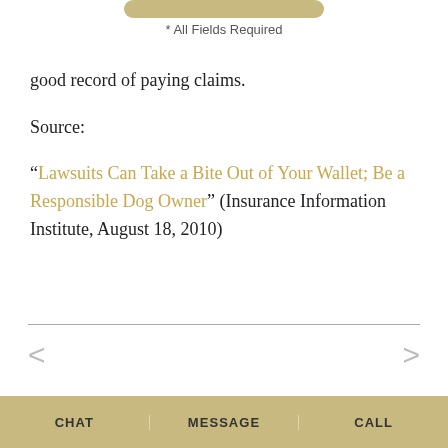* All Fields Required
good record of paying claims.
Source:
“Lawsuits Can Take a Bite Out of Your Wallet; Be a Responsible Dog Owner” (Insurance Information Institute, August 18, 2010)
CHAT   MESSAGE   CALL